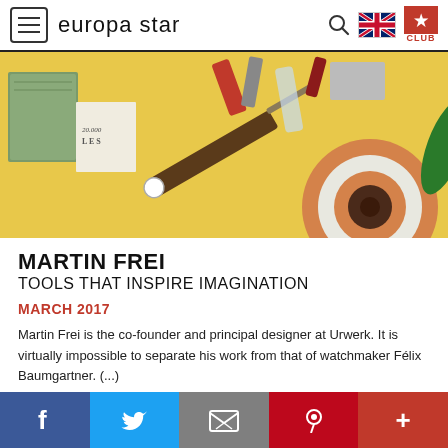europa star
[Figure (photo): Flatlay photo on yellow background showing various objects including a knife, books, tools, and a circular decorative item with brown and white rings]
MARTIN FREI
TOOLS THAT INSPIRE IMAGINATION
MARCH 2017
Martin Frei is the co-founder and principal designer at Urwerk. It is virtually impossible to separate his work from that of watchmaker Félix Baumgartner. (...)
Facebook Twitter Email Pinterest +